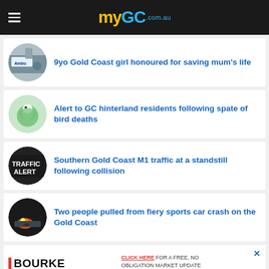myGC.com.au
9yo Gold Coast girl honoured for saving mum's life
Alert to GC hinterland residents following spate of bird deaths
Southern Gold Coast M1 traffic at a standstill following collision
Two people pulled from fiery sports car crash on the Gold Coast
[Figure (logo): Bourke Prestige Residential Commercial advertisement banner. CLICK HERE FOR A FREE, NO OBLIGATION MARKET UPDATE ON THE VALUE OF YOUR PROPERTY]